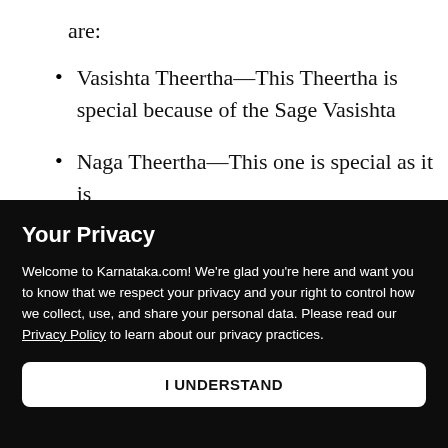are:
Vasishta Theertha—This Theertha is special because of the Sage Vasishta
Naga Theertha—This one is special as it is
Your Privacy
Welcome to Karnataka.com! We're glad you're here and want you to know that we respect your privacy and your right to control how we collect, use, and share your personal data. Please read our Privacy Policy to learn about our privacy practices.
I UNDERSTAND